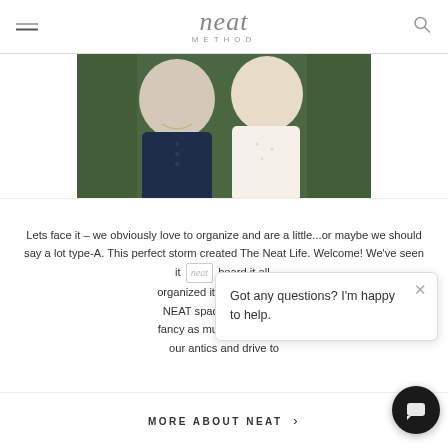Neat Method
[Figure (photo): Two women standing together outdoors, one in a navy blue dress and one in a white blouse, with greenery in the background.]
Lets face it – we obviously love to organize and are a little...or maybe we should say a lot type-A. This perfect storm created The Neat Life. Welcome! We've seen it [neat logo] heard it all, organized it all, and are alw NEAT space. Even if a cl fancy as much as ours, we our antics and drive to
Got any questions? I'm happy to help.
MORE ABOUT NEAT >